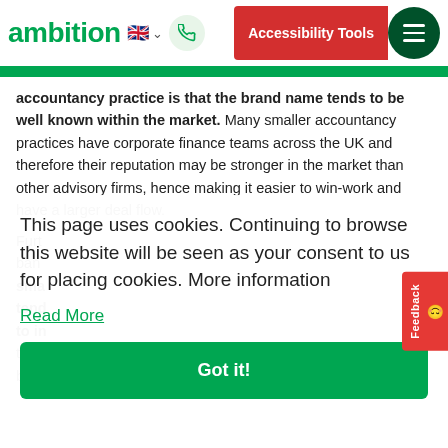ambition
accountancy practice is that the brand name tends to be well known within the market. Many smaller accountancy practices have corporate finance teams across the UK and therefore their reputation may be stronger in the market than other advisory firms, hence making it easier to win-work and have a larger deal flow.
This page uses cookies. Continuing to browse this website will be seen as your consent to us for placing cookies. More information
Read More
Got it!
Furt ban sma tend to in tie t beg
Of c